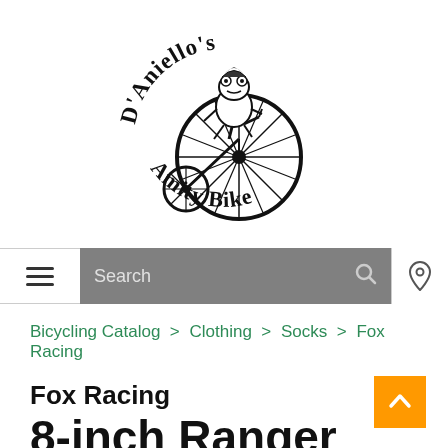[Figure (logo): D'Aniello's Amity Bike logo — a frog riding a penny-farthing bicycle, with arched text 'D'Aniello's' above and 'Amity Bike' below, black ink on white background]
Search
Bicycling Catalog > Clothing > Socks > Fox Racing
Fox Racing
8-inch Ranger Sock